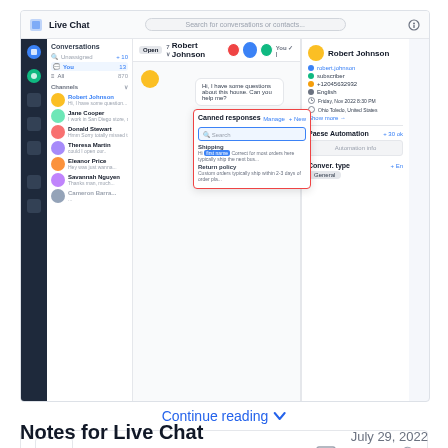[Figure (screenshot): Screenshot of a Live Chat application interface showing conversations list on the left, a chat window in the middle with a canned responses modal overlaid, and a contact details panel on the right. The canned responses panel shows a search box and items like Shipping and Return policy.]
Continue reading ˅
[Figure (infographic): Likes bar showing a heart icon and '2 likes' text, with social sharing icons for Facebook, Twitter, and a link icon on the right]
Notes for Live Chat
July 29, 2022